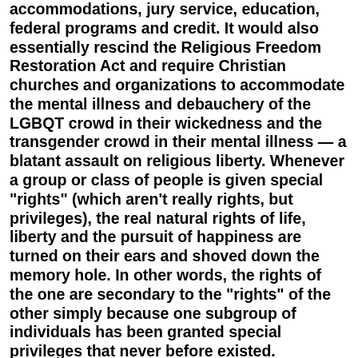accommodations, jury service, education, federal programs and credit. It would also essentially rescind the Religious Freedom Restoration Act and require Christian churches and organizations to accommodate the mental illness and debauchery of the LGBQT crowd in their wickedness and the transgender crowd in their mental illness — a blatant assault on religious liberty. Whenever a group or class of people is given special "rights" (which aren't really rights, but privileges), the real natural rights of life, liberty and the pursuit of happiness are turned on their ears and shoved down the memory hole. In other words, the rights of the one are secondary to the "rights" of the other simply because one subgroup of individuals has been granted special privileges that never before existed.
The freedom to discriminate is essential to liberty. It is not the role of government to determine which discrimination is acceptable and which is not — or to enforce its own form of discrimination to correct another. Though, historically, that is precisely what's occurred.
You discriminate every day of your life in everything